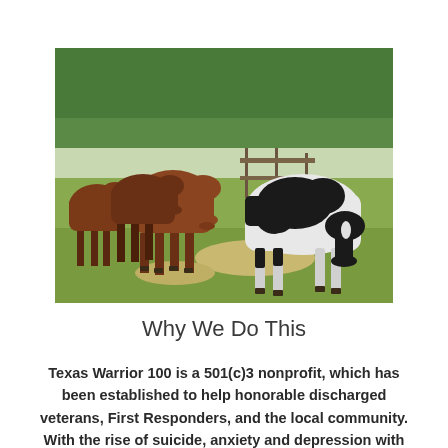[Figure (photo): Photograph of four horses grazing in a green pasture. Three brown/chestnut horses on the left and one black and white paint horse on the right. Background shows green trees and a wooden fence.]
Why We Do This
Texas Warrior 100 is a 501(c)3 nonprofit, which has been established to help honorable discharged veterans, First Responders, and the local community. With the rise of suicide, anxiety and depression with